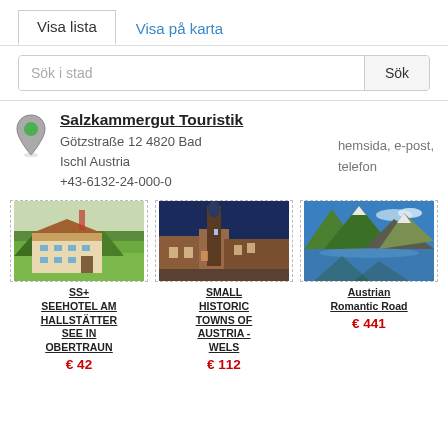Visa lista | Visa på karta
Sök i stad | Sök
Salzkammergut Touristik
Götzstraße 12 4820 Bad Ischl Austria
+43-6132-24-000-0
hemsida, e-post, telefon
[Figure (photo): Photo of SS+ Seehotel am Hallstätter See in Obertraun – alpine building with green forested mountain behind]
SS+ SEEHOTEL AM HALLSTÄTTER SEE IN OBERTRAUN
€ 42
[Figure (photo): Photo of Small Historic Towns of Austria – Wels, showing a church tower and historic buildings]
SMALL HISTORIC TOWNS OF AUSTRIA - WELS
€ 112
[Figure (photo): Photo of Austrian Romantic Road – lake with green mountains and blue sky]
Austrian Romantic Road
€ 441